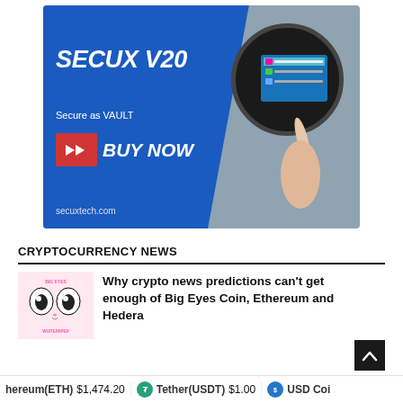[Figure (photo): SecuX V20 hardware crypto wallet advertisement. Blue background on left with text 'SECUX V20', 'Secure as VAULT', a red button with chevrons and 'BUY NOW', and website secuxtech.com. Right side shows a hand touching a circular hardware wallet device with a small screen.]
CRYPTOCURRENCY NEWS
[Figure (photo): Big Eyes Coin whitepaper thumbnail image with cartoon cat eyes on pink background]
Why crypto news predictions can't get enough of Big Eyes Coin, Ethereum and Hedera
hereum(ETH) $1,474.20 | Tether(USDT) $1.00 | USD Coi...